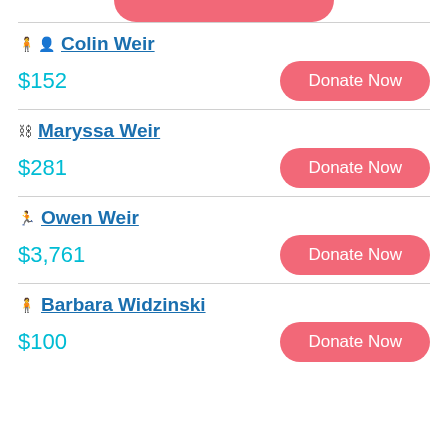Colin Weir
$152
Donate Now
Maryssa Weir
$281
Donate Now
Owen Weir
$3,761
Donate Now
Barbara Widzinski
$100
Donate Now